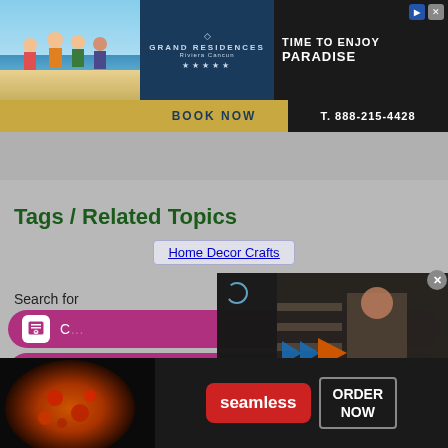[Figure (screenshot): Top banner advertisement for Grand Residences Riviera Cancun. Left third shows a family on a beach photo. Center shows 'GRAND RESIDENCES Riviera Cancun' with diamond logo and 5 stars. Right shows 'TIME TO ENJOY PARADISE' on dark background. Bottom bar: 'BOOK NOW' in gold, 'T. 888-215-4428' on dark background.]
[Figure (screenshot): Collapse/up-arrow button on grey background, and a dark blue bar.]
Tags / Related Topics
Home Decor Crafts
Search for
[Figure (screenshot): Three pink/magenta pill-shaped search buttons with calendar-heart icons. Visible text: 'C...', 'F...', 'Trending Baby Quilt Patterns']
[Figure (screenshot): Video player overlay with dark background, play button (two blue arrow stripes and orange triangle), loading circle, mute button, and partial preview of a person in a store.]
[Figure (screenshot): Bottom advertisement: pizza image on left, Seamless red button in center, ORDER NOW button on right, with close X button.]